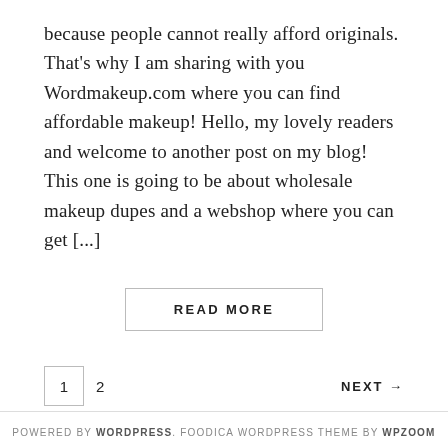because people cannot really afford originals. That's why I am sharing with you Wordmakeup.com where you can find affordable makeup! Hello, my lovely readers and welcome to another post on my blog! This one is going to be about wholesale makeup dupes and a webshop where you can get [...]
READ MORE
1  2  NEXT →
POWERED BY WORDPRESS. FOODICA WORDPRESS THEME BY WPZOOM